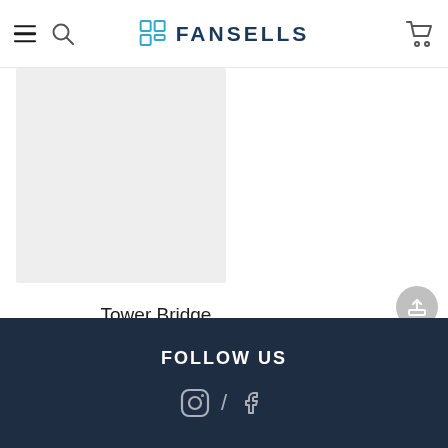FANSELLS
[Figure (photo): Product image placeholder - light grey rectangle for Tower Bridge canvas print]
Tower Bridge 40x30cm(canvas) full…
$3.52
FOLLOW US